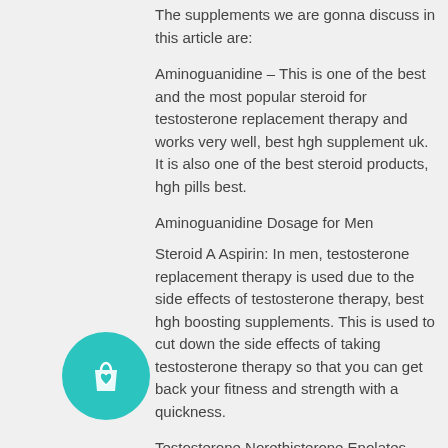The supplements we are gonna discuss in this article are:
Aminoguanidine – This is one of the best and the most popular steroid for testosterone replacement therapy and works very well, best hgh supplement uk. It is also one of the best steroid products, hgh pills best.
Aminoguanidine Dosage for Men
Steroid A Aspirin: In men, testosterone replacement therapy is used due to the side effects of testosterone therapy, best hgh boosting supplements. This is used to cut down the side effects of taking testosterone therapy so that you can get back your fitness and strength with a quickness.
Testosterone Norethisterone Enolates Dosage for Women
[Figure (illustration): Teal circular button with a shopping bag and heart icon]